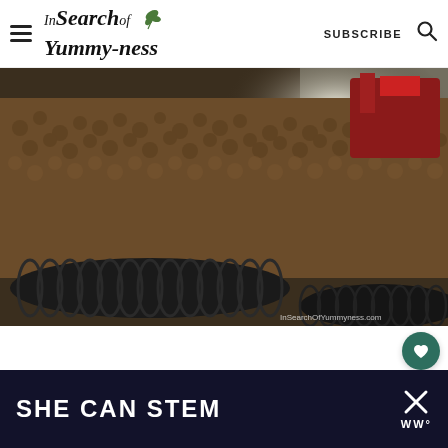In Search of Yummy-ness | SUBSCRIBE
[Figure (photo): Large pile of small brown potatoes/balls in a warehouse storage facility with black corrugated drainage pipes in the foreground and red machinery visible in the background. Watermark reads InSearchOfYummyness.com]
SHE CAN STEM